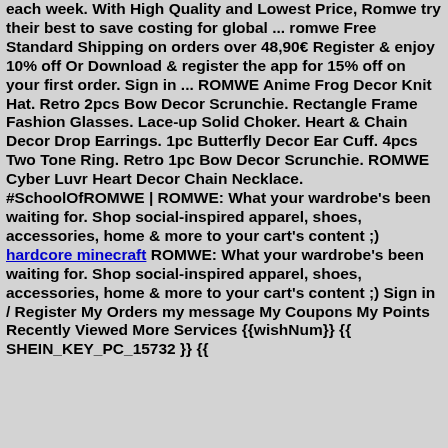each week. With High Quality and Lowest Price, Romwe try their best to save costing for global ... romwe Free Standard Shipping on orders over 48,90€ Register & enjoy 10% off Or Download & register the app for 15% off on your first order. Sign in ... ROMWE Anime Frog Decor Knit Hat. Retro 2pcs Bow Decor Scrunchie. Rectangle Frame Fashion Glasses. Lace-up Solid Choker. Heart & Chain Decor Drop Earrings. 1pc Butterfly Decor Ear Cuff. 4pcs Two Tone Ring. Retro 1pc Bow Decor Scrunchie. ROMWE Cyber Luvr Heart Decor Chain Necklace. #SchoolOfROMWE | ROMWE: What your wardrobe's been waiting for. Shop social-inspired apparel, shoes, accessories, home & more to your cart's content ;) hardcore minecraft ROMWE: What your wardrobe's been waiting for. Shop social-inspired apparel, shoes, accessories, home & more to your cart's content ;) Sign in / Register My Orders my message My Coupons My Points Recently Viewed More Services {{wishNum}} {{ SHEIN_KEY_PC_15732 }} {{